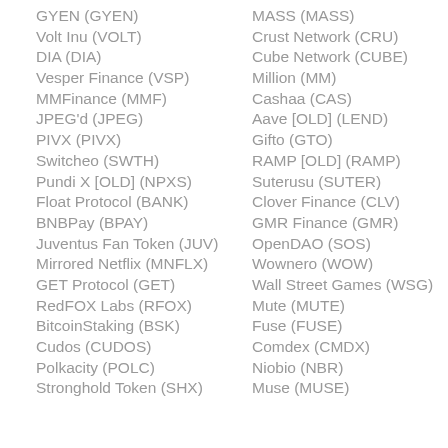GYEN (GYEN)
Volt Inu (VOLT)
DIA (DIA)
Vesper Finance (VSP)
MMFinance (MMF)
JPEG'd (JPEG)
PIVX (PIVX)
Switcheo (SWTH)
Pundi X [OLD] (NPXS)
Float Protocol (BANK)
BNBPay (BPAY)
Juventus Fan Token (JUV)
Mirrored Netflix (MNFLX)
GET Protocol (GET)
RedFOX Labs (RFOX)
BitcoinStaking (BSK)
Cudos (CUDOS)
Polkacity (POLC)
Stronghold Token (SHX)
MASS (MASS)
Crust Network (CRU)
Cube Network (CUBE)
Million (MM)
Cashaa (CAS)
Aave [OLD] (LEND)
Gifto (GTO)
RAMP [OLD] (RAMP)
Suterusu (SUTER)
Clover Finance (CLV)
GMR Finance (GMR)
OpenDAO (SOS)
Wownero (WOW)
Wall Street Games (WSG)
Mute (MUTE)
Fuse (FUSE)
Comdex (CMDX)
Niobio (NBR)
Muse (MUSE)